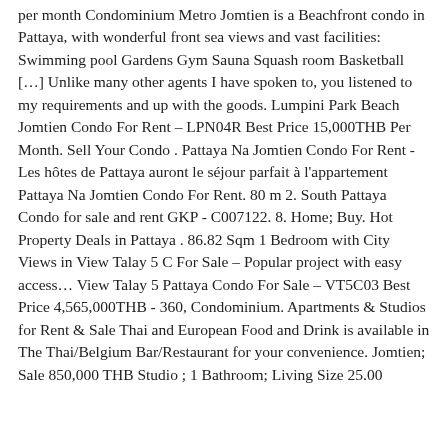per month Condominium Metro Jomtien is a Beachfront condo in Pattaya, with wonderful front sea views and vast facilities: Swimming pool Gardens Gym Sauna Squash room Basketball […] Unlike many other agents I have spoken to, you listened to my requirements and up with the goods. Lumpini Park Beach Jomtien Condo For Rent – LPN04R Best Price 15,000THB Per Month. Sell Your Condo . Pattaya Na Jomtien Condo For Rent - Les hôtes de Pattaya auront le séjour parfait à l'appartement Pattaya Na Jomtien Condo For Rent. 80 m 2. South Pattaya Condo for sale and rent GKP - C007122. 8. Home; Buy. Hot Property Deals in Pattaya . 86.82 Sqm 1 Bedroom with City Views in View Talay 5 C For Sale – Popular project with easy access… View Talay 5 Pattaya Condo For Sale – VT5C03 Best Price 4,565,000THB - 360, Condominium. Apartments & Studios for Rent & Sale Thai and European Food and Drink is available in The Thai/Belgium Bar/Restaurant for your convenience. Jomtien; Sale 850,000 THB Studio ; 1 Bathroom; Living Size 25.00